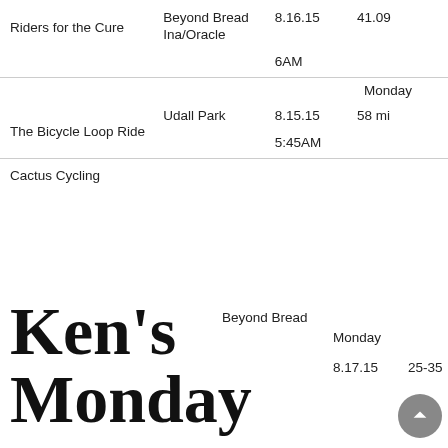| Name | Location | Date/Time | Distance |
| --- | --- | --- | --- |
| Riders for the Cure | Beyond Bread Ina/Oracle | 8.16.15
6AM | 41.09 |
| The Bicycle Loop Ride | Udall Park | Monday
8.15.15
5:45AM | 58 mi |
| Cactus Cycling
Ken's Monday | Beyond Bread | Monday
8.17.15 | 25-35 |